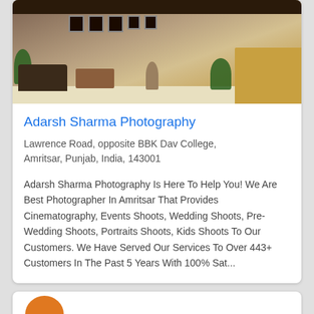[Figure (photo): Interior of a photography studio showing dark sofa, wooden furniture, stool, reception counter, wall photo frames, and plants]
Adarsh Sharma Photography
Lawrence Road, opposite BBK Dav College, Amritsar, Punjab, India, 143001
Adarsh Sharma Photography Is Here To Help You! We Are Best Photographer In Amritsar That Provides Cinematography, Events Shoots, Wedding Shoots, Pre-Wedding Shoots, Portraits Shoots, Kids Shoots To Our Customers. We Have Served Our Services To Over 443+ Customers In The Past 5 Years With 100% Sat...
[Figure (photo): Partially visible second listing card with an orange logo or image at bottom of page]